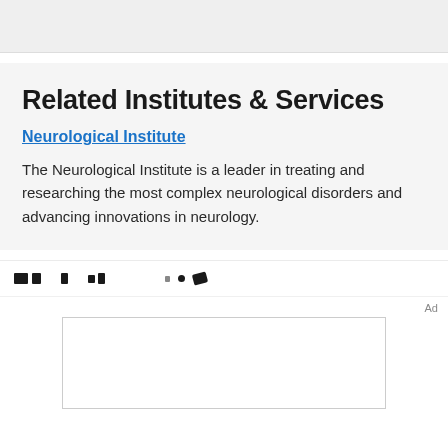Related Institutes & Services
Neurological Institute
The Neurological Institute is a leader in treating and researching the most complex neurological disorders and advancing innovations in neurology.
Ad
[Figure (other): Advertisement placeholder box]